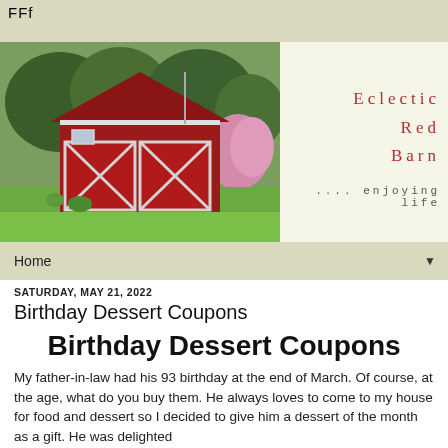FFf
[Figure (photo): Photo of a red barn with white trim and X-pattern doors, surrounded by green trees and lawn, with pink flowering shrubs to the right]
Eclectic Red Barn
.... enjoying life
Home
SATURDAY, MAY 21, 2022
Birthday Dessert Coupons
Birthday Dessert Coupons
My father-in-law had his 93 birthday at the end of March. Of course, at the age, what do you buy them. He always loves to come to my house for food and dessert so I decided to give him a dessert of the month as a gift. He was delighted